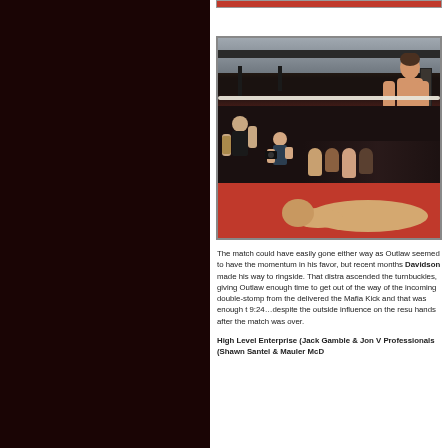[Figure (photo): Professional wrestling match photo showing a wrestler standing on the ring ropes/turnbuckle looking down at an opponent lying on the red mat, with another wrestler and crowd visible at ringside]
The match could have easily gone either way as Outlaw seemed to have the momentum in his favor, but recent months Davidson made his way to ringside. That distraction as ascended the turnbuckles, giving Outlaw enough time to get out of the way of the incoming double-stomp from the top delivered the Mafia Kick and that was enough to win the match at 9:24…despite the outside influence on the result, the two shook hands after the match was over.
High Level Enterprise (Jack Gamble & Jon V... Professionals (Shawn Santel & Mauler McD...